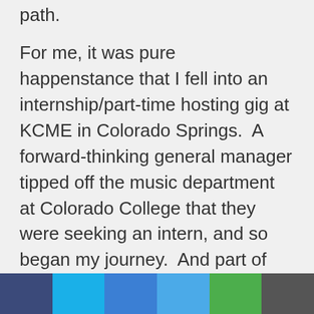path.
For me, it was pure happenstance that I fell into an internship/part-time hosting gig at KCME in Colorado Springs.  A forward-thinking general manager tipped off the music department at Colorado College that they were seeking an intern, and so began my journey.  And part of what made that internship work was that KCME took a huge gamble on me.  I was 20 years old, had no radio experience whatsoever, yet all of a sudden, there I was after two months of practice, hosting Sunday mornings from 6 to noon.  I'm sure I was